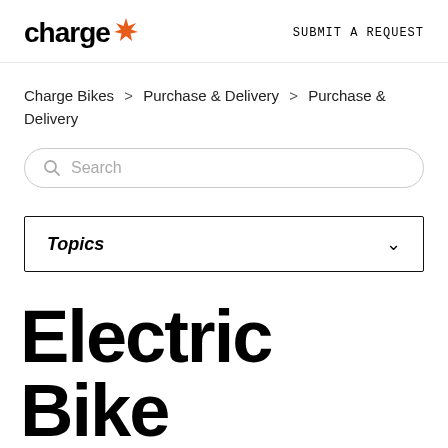charge* SUBMIT A REQUEST
Charge Bikes > Purchase & Delivery > Purchase & Delivery
[Figure (other): Search input field with magnifying glass icon and placeholder text 'Search']
Topics
Electric Bike